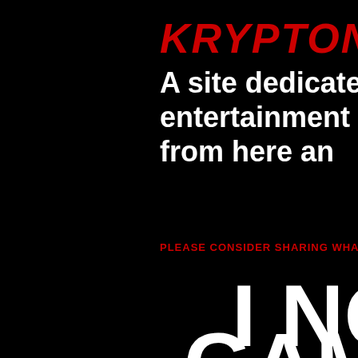KRYPTON
A site dedicated to entertainment ne from here an
PLEASE CONSIDER SHARING WHAT YOU SE
I NO
GAMI